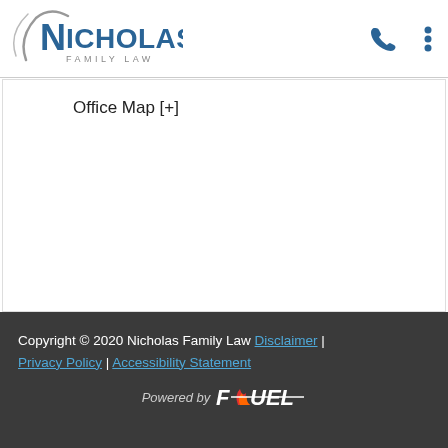[Figure (logo): Nicholas Family Law logo with stylized N and swoosh, blue and gray text]
[Figure (infographic): Blue phone icon and blue vertical three-dot menu icon in header navigation]
Office Map [+]
Copyright © 2020 Nicholas Family Law Disclaimer | Privacy Policy | Accessibility Statement
Powered by FUEL